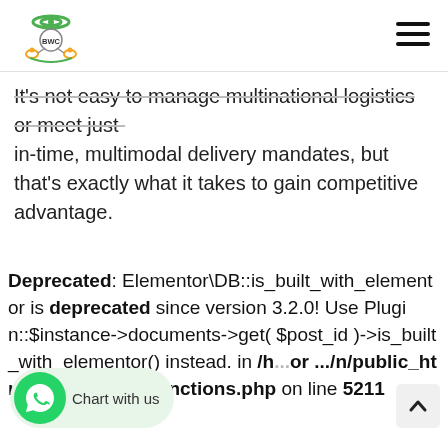BWC logo and hamburger menu
It's not easy to manage multinational logistics or meet just-in-time, multimodal delivery mandates, but that's exactly what it takes to gain competitive advantage.
Deprecated: Elementor\DB::is_built_with_elementor is deprecated since version 3.2.0! Use Plugin::$instance->documents->get( $post_id )->is_built_with_elementor() instead. in /h...or .../public_html/wp-includes/functions.php on line 5211